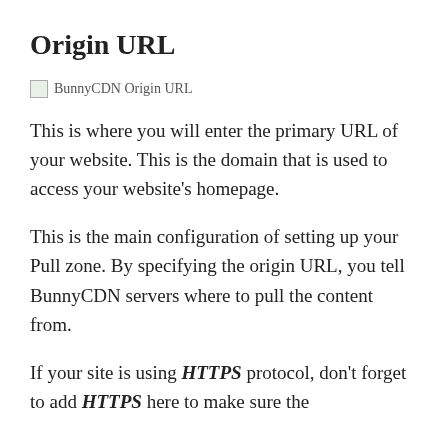Origin URL
[Figure (screenshot): BunnyCDN Origin URL screenshot placeholder image]
This is where you will enter the primary URL of your website. This is the domain that is used to access your website’s homepage.
This is the main configuration of setting up your Pull zone. By specifying the origin URL, you tell BunnyCDN servers where to pull the content from.
If your site is using HTTPS protocol, don’t forget to add HTTPS here to make sure the